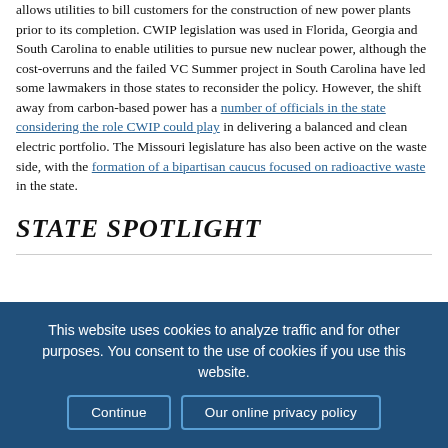allows utilities to bill customers for the construction of new power plants prior to its completion. CWIP legislation was used in Florida, Georgia and South Carolina to enable utilities to pursue new nuclear power, although the cost-overruns and the failed VC Summer project in South Carolina have led some lawmakers in those states to reconsider the policy. However, the shift away from carbon-based power has a number of officials in the state considering the role CWIP could play in delivering a balanced and clean electric portfolio. The Missouri legislature has also been active on the waste side, with the formation of a bipartisan caucus focused on radioactive waste in the state.
STATE SPOTLIGHT
This website uses cookies to analyze traffic and for other purposes. You consent to the use of cookies if you use this website. Continue | Our online privacy policy